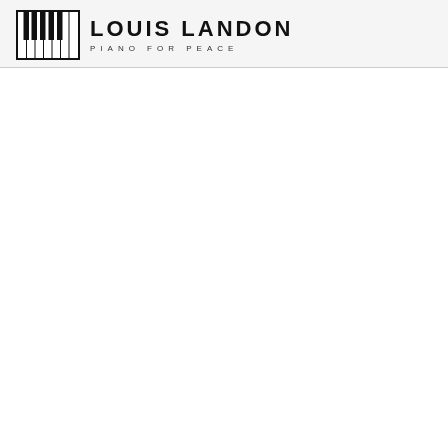[Figure (logo): Louis Landon Piano for Peace logo: piano keyboard icon on left, text 'LOUIS LANDON' in large bold letters with 'PIANO FOR PEACE' in smaller spaced letters below]